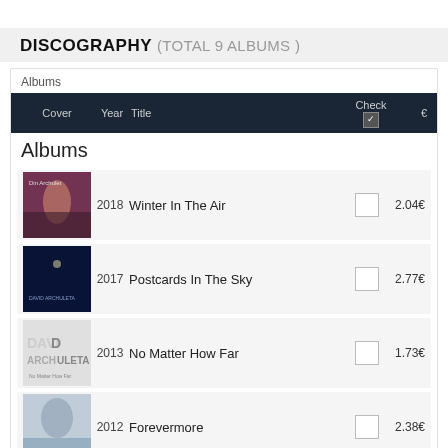DISCOGRAPHY (TOTAL 9 ALBUMS)
Albums
| Cover | Year | Title | Check | € |
| --- | --- | --- | --- | --- |
| [cover] | 2018 | Winter In The Air | ☐ | 2.04€ |
| [cover] | 2017 | Postcards In The Sky | ☐ | 2.77€ |
| [cover] | 2013 | No Matter How Far | ☐ | 1.73€ |
| [cover] | 2012 | Forevermore | ☐ | 2.38€ |